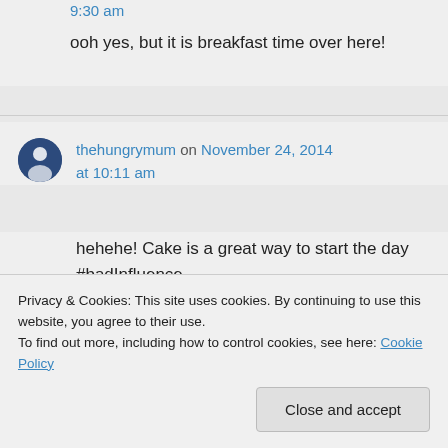9:30 am
ooh yes, but it is breakfast time over here!
thehungrymum on November 24, 2014 at 10:11 am
hehehe! Cake is a great way to start the day #badInfluence
Privacy & Cookies: This site uses cookies. By continuing to use this website, you agree to their use.
To find out more, including how to control cookies, see here: Cookie Policy
Close and accept
hahahahhahah!